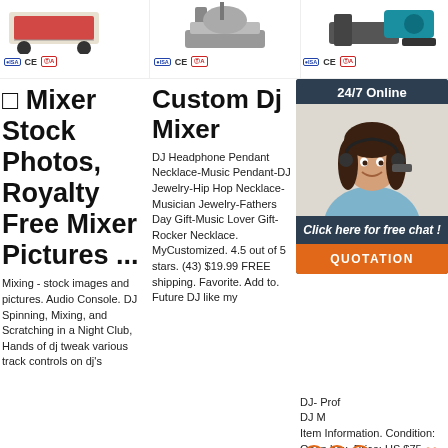[Figure (photo): Three product images in a row at the top: left shows a red wheeled cart/mixer, center shows an industrial mixing machine, right shows a blue industrial mixer/excavator attachment. Each has certification badges below (ISO, CE, MA).]
🎛 Mixer Stock Photos, Royalty Free Mixer Pictures ...
Mixing - stock images and pictures. Audio Console. DJ Spinning, Mixing, and Scratching in a Night Club, Hands of dj tweak various track controls on dj's
Custom Dj Mixer
DJ Headphone Pendant Necklace-Music Pendant-DJ Jewelry-Hip Hop Necklace-Musician Jewelry-Fathers Day Gift-Music Lover Gift-Rocker Necklace. MyCustomized. 4.5 out of 5 stars. (43) $19.99 FREE shipping. Favorite. Add to. Future DJ like my
DJ Tech Mixer Pr... US D...
[Figure (screenshot): 24/7 Online chat popup with agent photo and QUOTATION button]
DJ- Prof DJ M Item Information. Condition: Open box. Price: US $75.09 Free shipping. DJ-Tech Mixer One